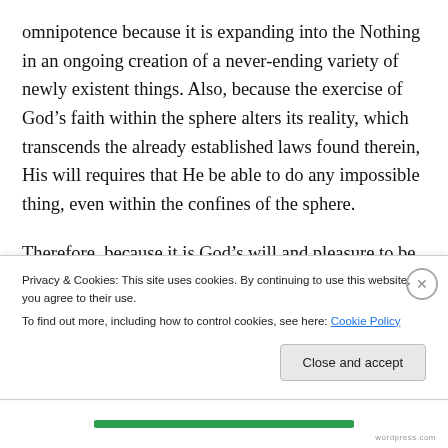omnipotence because it is expanding into the Nothing in an ongoing creation of a never-ending variety of newly existent things.  Also, because the exercise of God's faith within the sphere alters its reality, which transcends the already established laws found therein, His will requires that He be able to do any impossible thing, even within the confines of the sphere.
Therefore, because it is God's will and pleasure to be omnipotent, He exercises His faith to that end.
Di...
Privacy & Cookies: This site uses cookies. By continuing to use this website, you agree to their use.
To find out more, including how to control cookies, see here: Cookie Policy